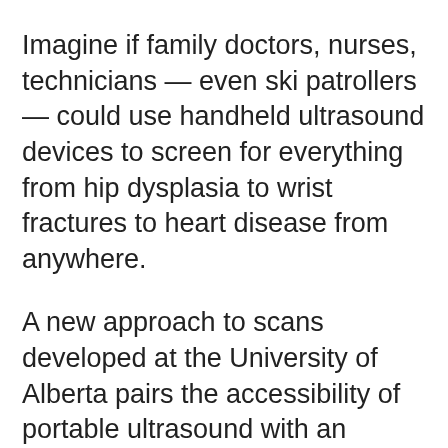Imagine if family doctors, nurses, technicians — even ski patrollers — could use handheld ultrasound devices to screen for everything from hip dysplasia to wrist fractures to heart disease from anywhere.
A new approach to scans developed at the University of Alberta pairs the accessibility of portable ultrasound with an artificial intelligence app that can analyze thousands of previous results and provide remote diagnostic support within seconds.
The research will be expanded and the system tested across Alberta thanks to a new $450,000 grant from TD Bank Group.